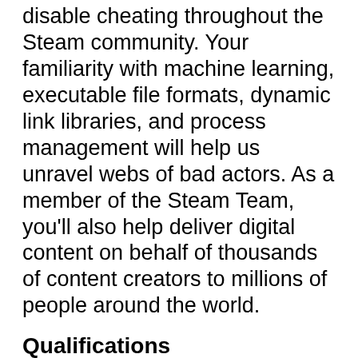disable cheating throughout the Steam community. Your familiarity with machine learning, executable file formats, dynamic link libraries, and process management will help us unravel webs of bad actors. As a member of the Steam Team, you'll also help deliver digital content on behalf of thousands of content creators to millions of people around the world.
Qualifications
Expertise in one or more of the following specialties
Analysis, debugging, and reverse-